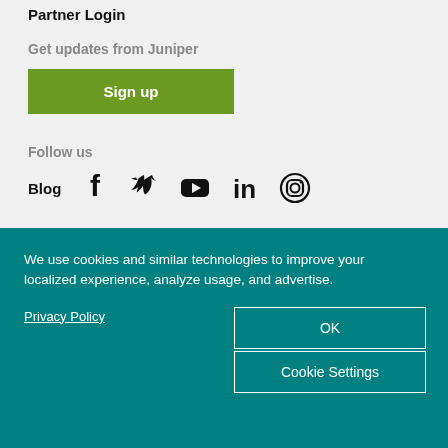Partner Login
Get updates from Juniper
Sign up
Follow us
Blog
[Figure (infographic): Social media icons: Facebook, Twitter, YouTube, LinkedIn, Instagram]
We use cookies and similar technologies to improve your localized experience, analyze usage, and advertise.
Privacy Policy
OK
Cookie Settings